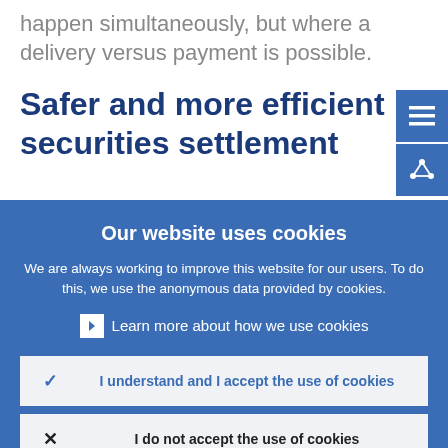happen simultaneously, but where a delivery versus payment is possible.
Safer and more efficient securities settlement
Our website uses cookies
We are always working to improve this website for our users. To do this, we use the anonymous data provided by cookies.
Learn more about how we use cookies
I understand and I accept the use of cookies
I do not accept the use of cookies